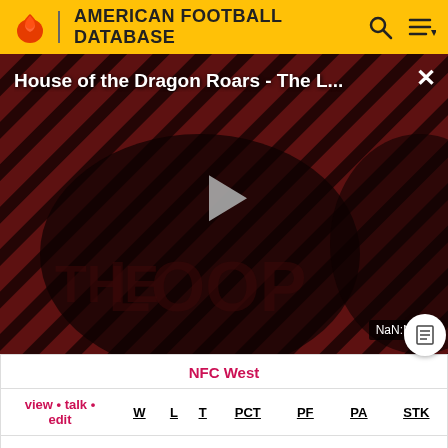AMERICAN FOOTBALL DATABASE
[Figure (screenshot): Video thumbnail for 'House of the Dragon Roars - The L...' showing a dark scene with diagonal stripe pattern overlay, a play button in the center, and NaN:NaN timestamp in bottom right]
NFC West
| view • talk • edit | W | L | T | PCT | PF | PA | STK |
| --- | --- | --- | --- | --- | --- | --- | --- |
| San | 10 | 6 | 0 | .625 | 432 | 293 | W3 |